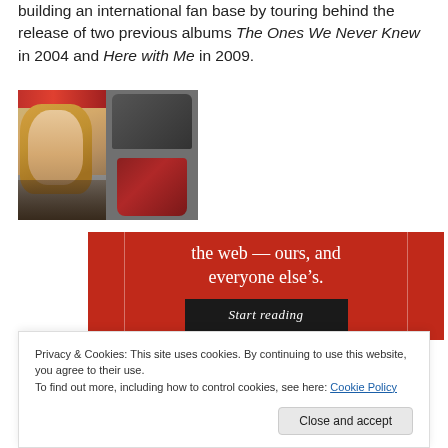building an international fan base by touring behind the release of two previous albums The Ones We Never Knew in 2004 and Here with Me in 2009.
[Figure (photo): Photo of a blonde woman standing in front of a clothing/accessories display with bags on shelves behind her.]
[Figure (infographic): Red advertisement banner with white text reading 'the web — ours, and everyone else's.' with a dark 'Start reading' button.]
Privacy & Cookies: This site uses cookies. By continuing to use this website, you agree to their use.
To find out more, including how to control cookies, see here: Cookie Policy